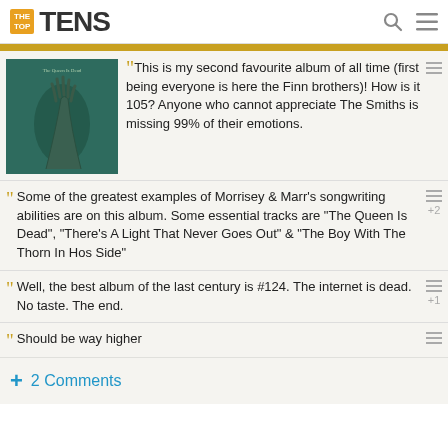THE TOP TENS
[Figure (screenshot): Album cover thumbnail, dark green with a hand reaching up]
This is my second favourite album of all time (first being everyone is here the Finn brothers)! How is it 105? Anyone who cannot appreciate The Smiths is missing 99% of their emotions.
Some of the greatest examples of Morrisey & Marr's songwriting abilities are on this album. Some essential tracks are "The Queen Is Dead", "There's A Light That Never Goes Out" & "The Boy With The Thorn In Hos Side"
Well, the best album of the last century is #124. The internet is dead. No taste. The end.
Should be way higher
+ 2 Comments